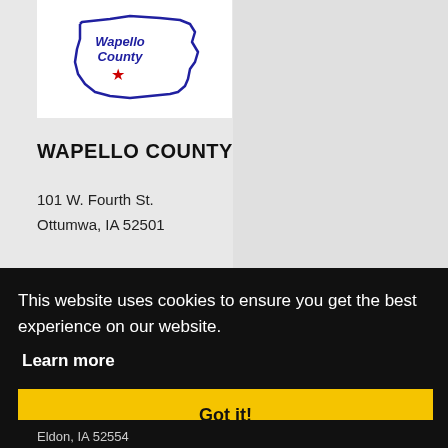[Figure (logo): Wapello County Iowa outline map logo with 'Wapello County' text in blue and a red star marker]
WAPELLO COUNTY
101 W. Fourth St.
Ottumwa, IA 52501
This website uses cookies to ensure you get the best experience on our website.
Learn more
Got it!
Eldon, IA 52554